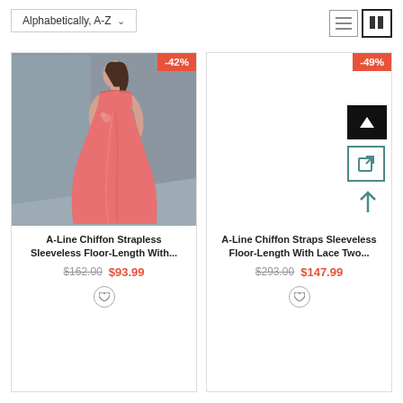Alphabetically, A-Z
[Figure (screenshot): Product listing card for A-Line Chiffon Strapless Sleeveless Floor-Length dress with -42% badge and coral dress image]
A-Line Chiffon Strapless Sleeveless Floor-Length With...
$162.00  $93.99
[Figure (screenshot): Product listing card for A-Line Chiffon Straps Sleeveless Floor-Length With Lace Two dress with -49% badge and blank image area with UI icons]
A-Line Chiffon Straps Sleeveless Floor-Length With Lace Two...
$293.00  $147.99